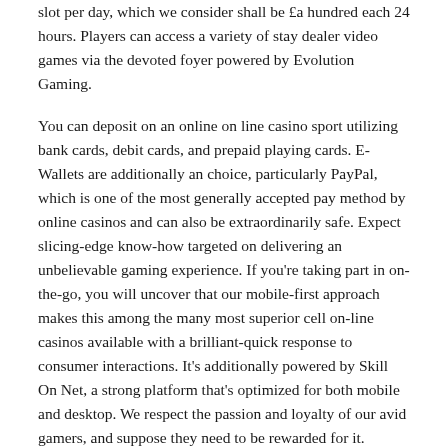slot per day, which we consider shall be £a hundred each 24 hours. Players can access a variety of stay dealer video games via the devoted foyer powered by Evolution Gaming.
You can deposit on an online on line casino sport utilizing bank cards, debit cards, and prepaid playing cards. E-Wallets are additionally an choice, particularly PayPal, which is one of the most generally accepted pay method by online casinos and can also be extraordinarily safe. Expect slicing-edge know-how targeted on delivering an unbelievable gaming experience. If you're taking part in on-the-go, you will uncover that our mobile-first approach makes this among the many most superior cell on-line casinos available with a brilliant-quick response to consumer interactions. It's additionally powered by Skill On Net, a strong platform that's optimized for both mobile and desktop. We respect the passion and loyalty of our avid gamers, and suppose they need to be rewarded for it. Alongside the common online on line casino bonuses we provide, our system additionally applies gamification, the place